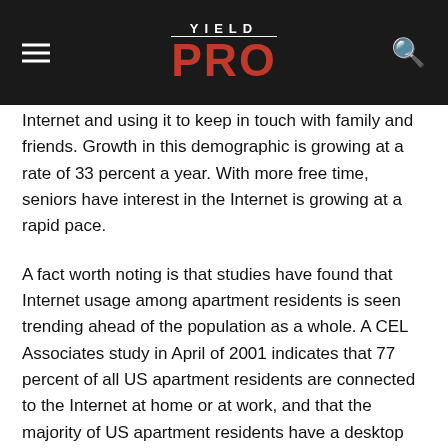YIELD PRO
Internet and using it to keep in touch with family and friends. Growth in this demographic is growing at a rate of 33 percent a year. With more free time, seniors have interest in the Internet is growing at a rapid pace.
A fact worth noting is that studies have found that Internet usage among apartment residents is seen trending ahead of the population as a whole. A CEL Associates study in April of 2001 indicates that 77 percent of all US apartment residents are connected to the Internet at home or at work, and that the majority of US apartment residents have a desktop and/or a laptop computer in their homes. This is significantly higher than the national average. The study also indicated that these residents spend one to four hours each day on their computers. A year ago, 23 percent had high-speed Internet access, and 45 percent indicated they planned on moving to